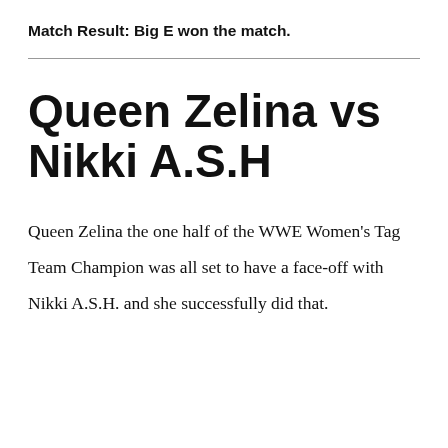Match Result: Big E won the match.
Queen Zelina vs Nikki A.S.H
Queen Zelina the one half of the WWE Women's Tag Team Champion was all set to have a face-off with Nikki A.S.H. and she successfully did that.